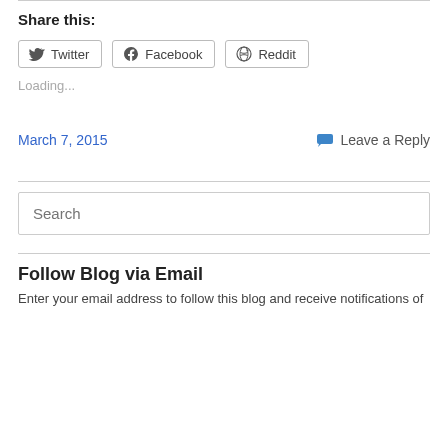Share this:
Twitter  Facebook  Reddit
Loading...
March 7, 2015
Leave a Reply
Search
Follow Blog via Email
Enter your email address to follow this blog and receive notifications of